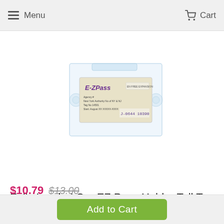Menu  Cart
[Figure (photo): A clear plastic EZ Pass toll tag holder containing an EZ Pass transponder, shown mounted with suction cup attachments on a white background.]
Fully Loaded Car EZ Pass Holder Toll Tag Holder Fits New & Old Transponder i-Pass i-Zoom Clear
$10.79  $13.00
★★★★☆ 5